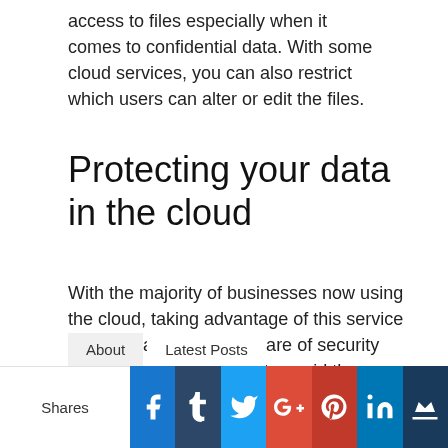access to files especially when it comes to confidential data. With some cloud services, you can also restrict which users can alter or edit the files.
Protecting your data in the cloud
With the majority of businesses now using the cloud, taking advantage of this service is a no-brainer. Being aware of security threats and taking steps to avoid them can protect your business data and minimise potential risks.
About   Latest Posts   [social share bar: Shares, Facebook, Tumblr, Twitter, Google+, Pinterest, LinkedIn, Other]